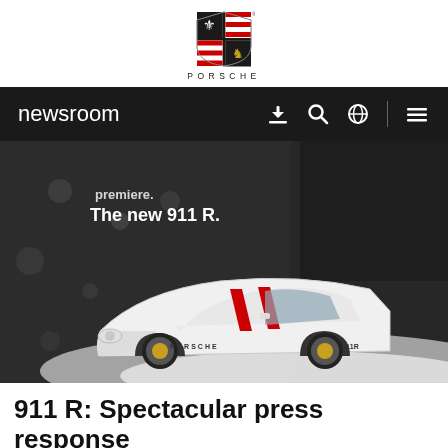PORSCHE
[Figure (logo): Porsche crest logo and PORSCHE wordmark]
[Figure (screenshot): Porsche newsroom navigation bar with search, globe, and menu icons on dark background]
[Figure (photo): White Porsche 911 R with red racing stripes on display at an auto show premiere event, surrounded by attendees. Text overlay reads 'premiere. The new 911 R.']
911 R: Spectacular press response